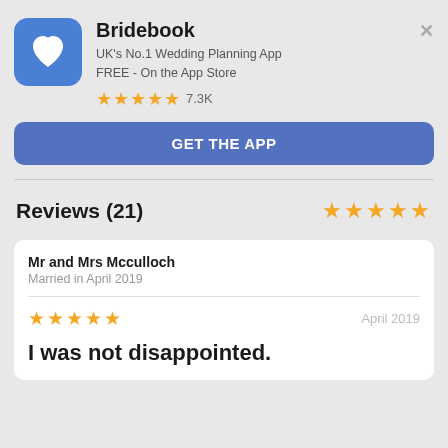[Figure (logo): Bridebook app icon with white heart logo on blue background]
Bridebook
UK's No.1 Wedding Planning App
FREE - On the App Store
★★★★★ 7.3K
GET THE APP
Reviews (21)
★★★★★
Mr and Mrs Mcculloch
Married in April 2019
★★★★★  April 2019
I was not disappointed.